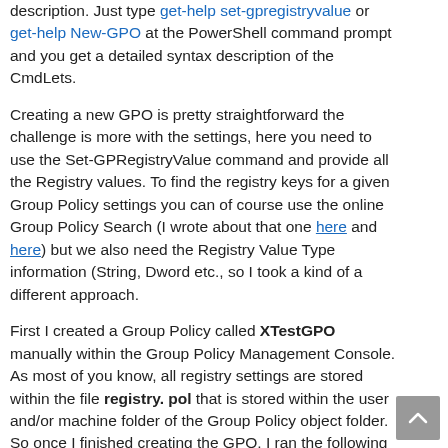description. Just type get-help set-gpregistryvalue or get-help New-GPO at the PowerShell command prompt and you get a detailed syntax description of the CmdLets.
Creating a new GPO is pretty straightforward the challenge is more with the settings, here you need to use the Set-GPRegistryValue command and provide all the Registry values. To find the registry keys for a given Group Policy settings you can of course use the online Group Policy Search (I wrote about that one here and here) but we also need the Registry Value Type information (String, Dword etc., so I took a kind of a different approach.
First I created a Group Policy called XTestGPO manually within the Group Policy Management Console. As most of you know, all registry settings are stored within the file registry. pol that is stored within the user and/or machine folder of the Group Policy object folder. So once I finished creating the GPO, I ran the following command to get the GPOs GUID.